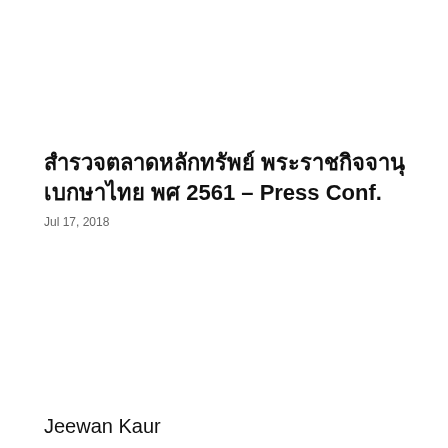สํารวจตลาดหลักทรัพย์ พ.ศ 2561 – Press Conf.
Jul 17, 2018
Jeewan Kaur